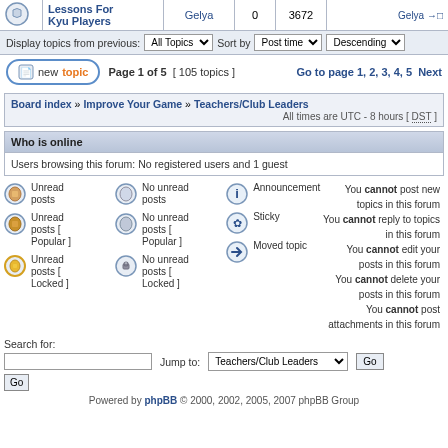| Lessons For Kyu Players | Gelya | 0 | 3672 | Gelya |
Display topics from previous: All Topics  Sort by  Post time  Descending
Page 1 of 5  [ 105 topics ]   Go to page 1, 2, 3, 4, 5  Next
Board index » Improve Your Game » Teachers/Club Leaders
All times are UTC - 8 hours [ DST ]
Who is online
Users browsing this forum: No registered users and 1 guest
Unread posts
No unread posts
Announcement
Unread posts [ Popular ]
No unread posts [ Popular ]
Sticky
Unread posts [ Locked ]
No unread posts [ Locked ]
Moved topic
You cannot post new topics in this forum
You cannot reply to topics in this forum
You cannot edit your posts in this forum
You cannot delete your posts in this forum
You cannot post attachments in this forum
Search for:
Jump to: Teachers/Club Leaders  Go
Powered by phpBB © 2000, 2002, 2005, 2007 phpBB Group